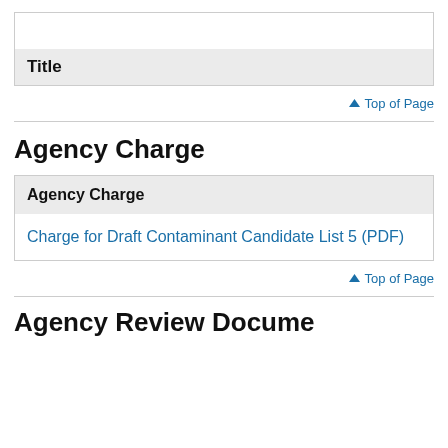| Title |
| --- |
|  |
↑ Top of Page
Agency Charge
| Agency Charge |
| --- |
| Charge for Draft Contaminant Candidate List 5 (PDF) |
↑ Top of Page
Agency Review Documents